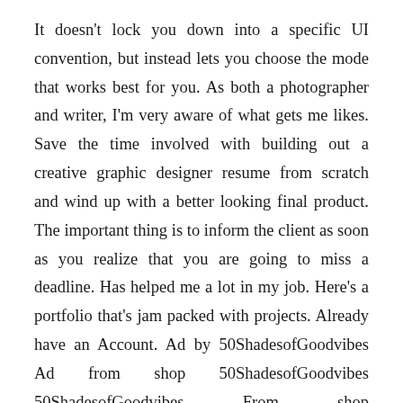It doesn't lock you down into a specific UI convention, but instead lets you choose the mode that works best for you. As both a photographer and writer, I'm very aware of what gets me likes. Save the time involved with building out a creative graphic designer resume from scratch and wind up with a better looking final product. The important thing is to inform the client as soon as you realize that you are going to miss a deadline. Has helped me a lot in my job. Here's a portfolio that's jam packed with projects. Already have an Account. Ad by 50ShadesofGoodvibes Ad from shop 50ShadesofGoodvibes 50ShadesofGoodvibes From shop 50ShadesofGoodvibes. Graphic designer salaries can vary greatly based on a number of